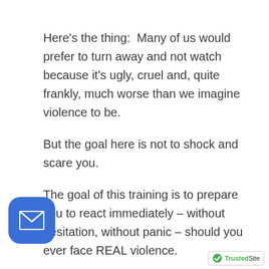Here's the thing:  Many of us would prefer to turn away and not watch because it's ugly, cruel and, quite frankly, much worse than we imagine violence to be.
But the goal here is not to shock and scare you.
The goal of this training is to prepare you to react immediately – without hesitation, without panic – should you ever face REAL violence.
[Figure (illustration): Blue rounded square icon with a white envelope/mail symbol inside, resembling a mobile app icon.]
[Figure (logo): TrustedSite badge with green checkmark and the text 'TrustedSite' in green and black.]